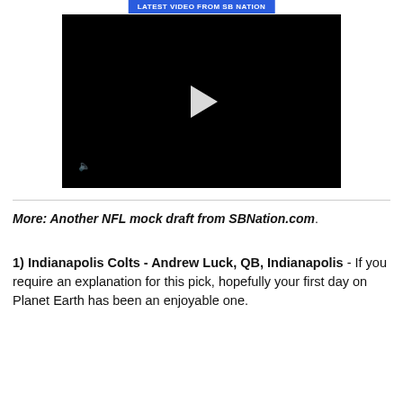LATEST VIDEO FROM SB NATION
[Figure (screenshot): Black video player with white play button triangle in center and volume icon in lower left corner]
More: Another NFL mock draft from SBNation.com.
1) Indianapolis Colts - Andrew Luck, QB, Indianapolis - If you require an explanation for this pick, hopefully your first day on Planet Earth has been an enjoyable one.